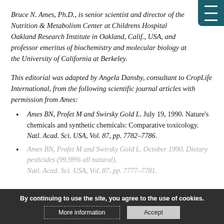Bruce N. Ames, Ph.D., is senior scientist and director of the Nutrition & Metabolism Center at Childrens Hospital Oakland Research Institute in Oakland, Calif., USA, and professor emeritus of biochemistry and molecular biology at the University of California at Berkeley.
This editorial was adapted by Angela Dansby, consultant to CropLife International, from the following scientific journal articles with permission from Ames:
Ames BN, Profet M and Swirsky Gold L. July 19, 1990. Nature's chemicals and synthetic chemicals: Comparative toxicology. Natl. Acad. Sci. USA, Vol. 87, pp. 7782–7786.
Ames BN, Profet M and Swirsky Gold L. October 1990. Dietary pesticides (99.99% all natural). Natl. Acad. Sci. USA, Vol. 87, pp. 7777–7781.